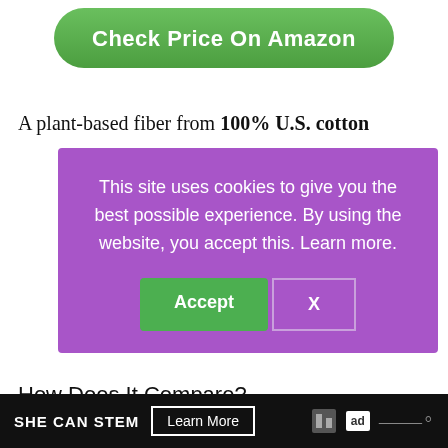[Figure (other): Green rounded button labeled 'Check Price On Amazon']
A plant-based fiber from 100% U.S. cotton
[Figure (other): Purple cookie consent overlay with text: 'This site uses cookies to give you the best possible experience. By using the website, you accept this. Learn more.' with Accept and X buttons.]
How Does It Compare?
Care – Machine wash and dry
SHE CAN STEM  Learn More  ad